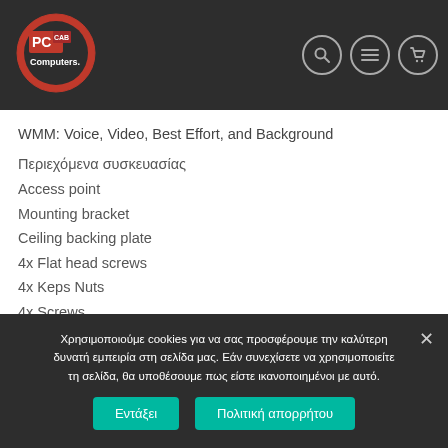[Figure (logo): PC CAB Computers logo — red circle with PC CAB text inside on dark background header with search, menu, and cart icons]
WMM: Voice, Video, Best Effort, and Background
Περιεχόμενα συσκευασίας
Access point
Mounting bracket
Ceiling backing plate
4x Flat head screws
4x Keps Nuts
4x Screws
Χρησιμοποιούμε cookies για να σας προσφέρουμε την καλύτερη δυνατή εμπειρία στη σελίδα μας. Εάν συνεχίσετε να χρησιμοποιείτε τη σελίδα, θα υποθέσουμε πως είστε ικανοποιημένοι με αυτό.
Εντάξει | Πολιτική απορρήτου